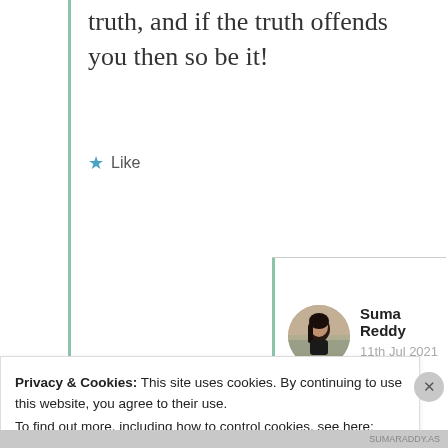truth, and if the truth offends you then so be it!
Like
Suma Reddy
11th Jul 2021 at 8:19 am
My truths are being
Privacy & Cookies: This site uses cookies. By continuing to use this website, you agree to their use.
To find out more, including how to control cookies, see here: Cookie Policy
Close and accept